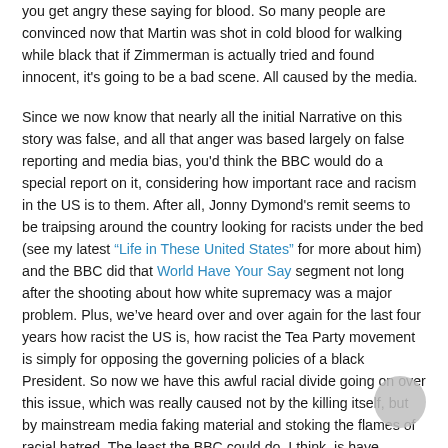you get angry these saying for blood. So many people are convinced now that Martin was shot in cold blood for walking while black that if Zimmerman is actually tried and found innocent, it's going to be a bad scene. All caused by the media.
Since we now know that nearly all the initial Narrative on this story was false, and all that anger was based largely on false reporting and media bias, you'd think the BBC would do a special report on it, considering how important race and racism in the US is to them. After all, Jonny Dymond's remit seems to be traipsing around the country looking for racists under the bed (see my latest “Life in These United States” for more about him) and the BBC did that World Have Your Say segment not long after the shooting about how white supremacy was a major problem. Plus, we’ve heard over and over again for the last four years how racist the US is, how racist the Tea Party movement is simply for opposing the governing policies of a black President. So now we have this awful racial divide going on over this issue, which was really caused not by the killing itself, but by mainstream media faking material and stoking the flames of racial hatred. The least the BBC could do, I think, is have another honest discussion about what’s actually happened. It’s hard to think of a valid journalistic reason why they haven't addressed any of this.